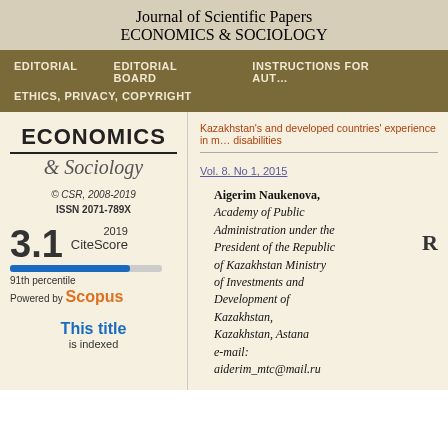Journal of Scientific Papers ECONOMICS & SOCIOLOGY
EDITORIAL   EDITORIAL BOARD   INSTRUCTIONS FOR AUTHORS   ETHICS, PRIVACY, COPYRIGHT
[Figure (logo): ECONOMICS & Sociology journal logo with copyright CSR 2008-2019, ISSN 2071-789X, 3.1 CiteScore 2019, 91th percentile, Powered by Scopus]
Kazakhstan's and developed countries' experience in managing disabilities
Vol. 8. No 1, 2015
Aigerim Naukenova, Academy of Public Administration under the President of the Republic of Kazakhstan Ministry of Investments and Development of Kazakhstan, Kazakhstan, Astana e-mail: aiderim_mtc@mail.ru
This title is indexed